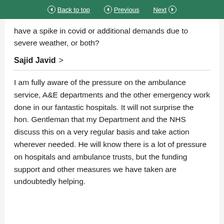Back to top | Previous | Next
have a spike in covid or additional demands due to severe weather, or both?
Sajid Javid >
I am fully aware of the pressure on the ambulance service, A&E departments and the other emergency work done in our fantastic hospitals. It will not surprise the hon. Gentleman that my Department and the NHS discuss this on a very regular basis and take action wherever needed. He will know there is a lot of pressure on hospitals and ambulance trusts, but the funding support and other measures we have taken are undoubtedly helping.